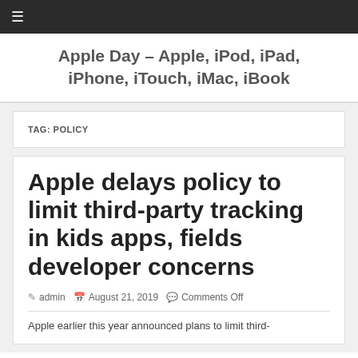≡
Apple Day – Apple, iPod, iPad, iPhone, iTouch, iMac, iBook
TAG: POLICY
Apple delays policy to limit third-party tracking in kids apps, fields developer concerns
admin  August 21, 2019  Comments Off
Apple earlier this year announced plans to limit third-